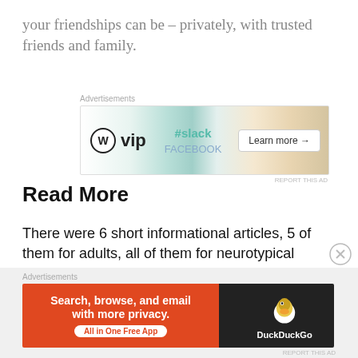your friendships can be – privately, with trusted friends and family.
[Figure (screenshot): Advertisement banner for WordPress VIP featuring WordPress logo, slack and Facebook cards, and a 'Learn more →' button]
Read More
There were 6 short informational articles, 5 of them for adults, all of them for neurotypical people about how to interact with autistic children and/or their parents. "Being a Friend" for kids was pretty nice but it was totally geared toward neurotypical kids. There is NOTHING here for autistic kids. They are just
[Figure (screenshot): Advertisement for DuckDuckGo: 'Search, browse, and email with more privacy. All in One Free App' with DuckDuckGo logo]